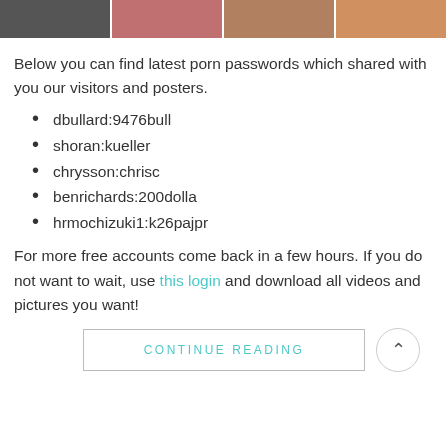[Figure (photo): Strip of four adult content thumbnail images at the top of the page]
Below you can find latest porn passwords which shared with you our visitors and posters.
dbullard:9476bull
shoran:kueller
chrysson:chrisc
benrichards:200dolla
hrmochizuki1:k26pajpr
For more free accounts come back in a few hours. If you do not want to wait, use this login and download all videos and pictures you want!
CONTINUE READING